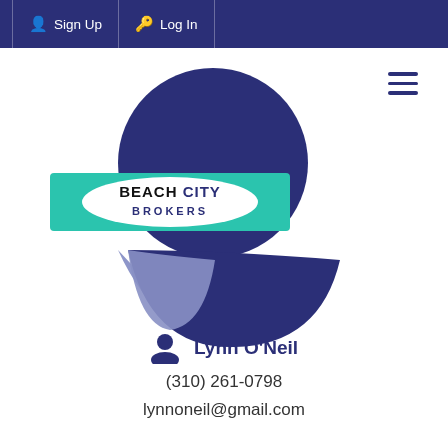Sign Up  Log In
[Figure (logo): Beach City Brokers logo with circular blue emblem and teal rectangle, plus a large blue wave/bowl shape below]
Lynn O'Neil
(310) 261-0798
lynnoneil@gmail.com